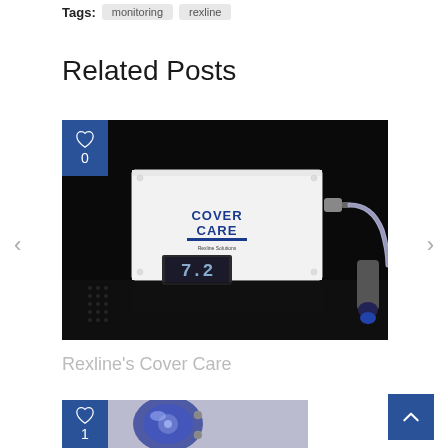Tags: monitoring rexline
Related Posts
[Figure (photo): White rectangular electronic device branded 'Cover Care' with a digital display showing '7.2', connected to a sensor/probe via cable, photographed on a dark reflective surface]
Rexline's Cover Care
[Figure (photo): Partially visible image of a blue/purple mechanical component or device]